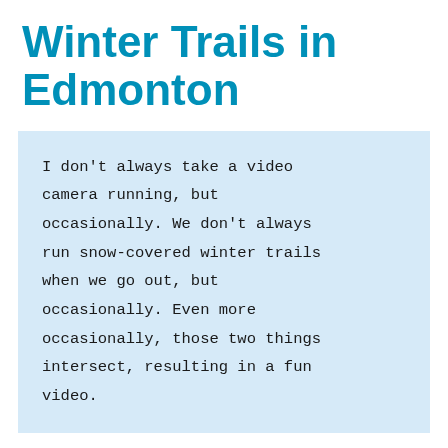Winter Trails in Edmonton
I don't always take a video camera running, but occasionally. We don't always run snow-covered winter trails when we go out, but occasionally. Even more occasionally, those two things intersect, resulting in a fun video.